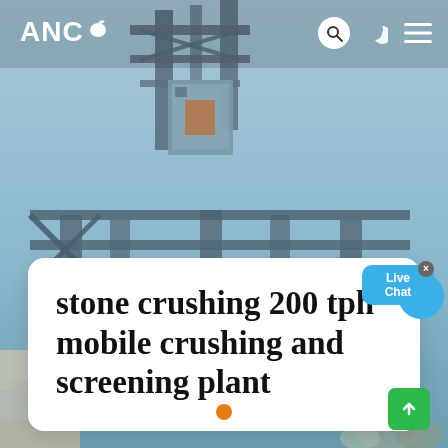[Figure (photo): Industrial mobile crushing and screening plant machinery with steel structure frames, conveyors, and equipment against a light blue sky background.]
ANC (logo with leaf icon), search icon, dark mode icon, hamburger menu
stone crushing 200 tph mobile crushing and screening plant
Live Chat
Carousel dots navigation and scroll-to-top button